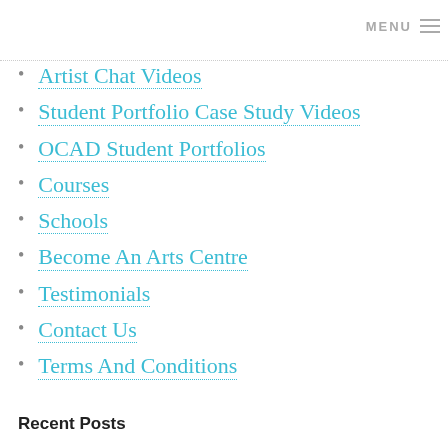MENU
Artist Chat Videos
Student Portfolio Case Study Videos
OCAD Student Portfolios
Courses
Schools
Become An Arts Centre
Testimonials
Contact Us
Terms And Conditions
Recent Posts